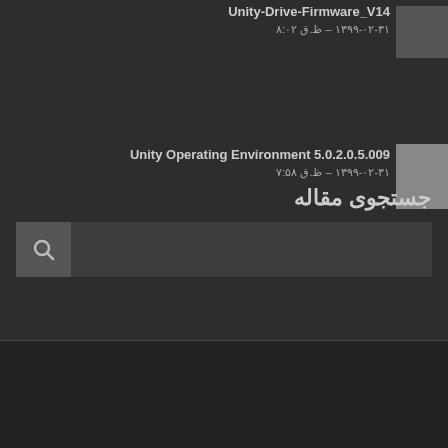Unity-Drive-Firmware_V14
۱۳۹۹-۰۲-۳۱ - ظ.ق ۸:۰۲
Unity Operating Environment 5.0.2.0.5.009
۱۳۹۹-۰۲-۳۱ - ظ.ق ۷:۵۸
جستجوی مقاله
کلیه حقوق این مجموعه برای vCloudtip محفوظ می باشد. [انشر مطالب با ذکر منبع بلامانع است .]